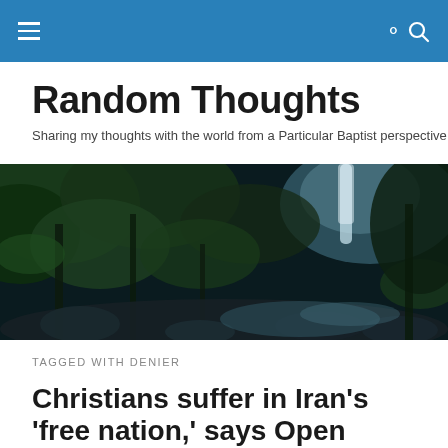Random Thoughts — navigation bar with hamburger menu and search icon
Random Thoughts
Sharing my thoughts with the world from a Particular Baptist perspective
[Figure (photo): Dark forest landscape with a waterfall and rocky stream, lush green foliage]
TAGGED WITH DENIER
Christians suffer in Iran's 'free nation,' says Open Doors USA